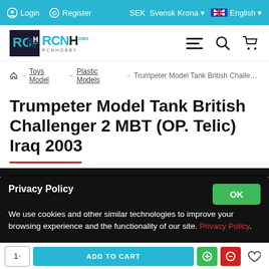Login  Register  SEK Svensk Krona  English
[Figure (logo): RCNH RCNHOBBY logo with cyan/dark styling, hamburger menu icon, search icon, cart icon]
Home → Toys Model → Plastic Models → Trumpeter Model Tank British Challen…
Trumpeter Model Tank British Challenger 2 MBT (OP. Telic) Iraq 2003
Privacy Policy
We use cookies and other similar technologies to improve your browsing experience and the functionality of our site. Privacy Policy.
1  ADD TO CART